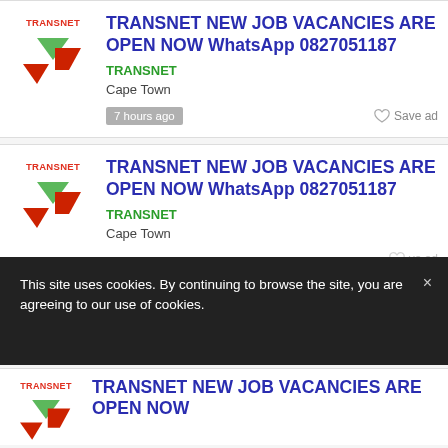[Figure (logo): Transnet logo with red wordmark and red/green chevron symbol]
TRANSNET NEW JOB VACANCIES ARE OPEN NOW WhatsApp 0827051187
TRANSNET
Cape Town
7 hours ago
Save ad
[Figure (logo): Transnet logo with red wordmark and red/green chevron symbol]
TRANSNET NEW JOB VACANCIES ARE OPEN NOW WhatsApp 0827051187
TRANSNET
Cape Town
Save ad
This site uses cookies. By continuing to browse the site, you are agreeing to our use of cookies.
[Figure (logo): Transnet logo partial (third listing, partially visible)]
TRANSNET NEW JOB VACANCIES ARE OPEN NOW